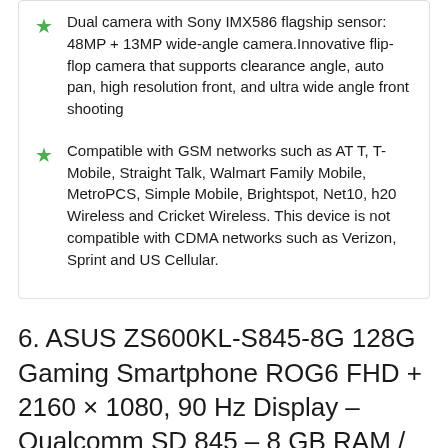Dual camera with Sony IMX586 flagship sensor: 48MP + 13MP wide-angle camera.Innovative flip-flop camera that supports clearance angle, auto pan, high resolution front, and ultra wide angle front shooting
Compatible with GSM networks such as AT T, T-Mobile, Straight Talk, Walmart Family Mobile, MetroPCS, Simple Mobile, Brightspot, Net10, h20 Wireless and Cricket Wireless. This device is not compatible with CDMA networks such as Verizon, Sprint and US Cellular.
6. ASUS ZS600KL-S845-8G 128G Gaming Smartphone ROG6 FHD + 2160 × 1080, 90 Hz Display – Qualcomm SD 845 – 8 GB RAM / 128 GB Storage – LTE Unlock, Dual SIM (GSM Only), Black